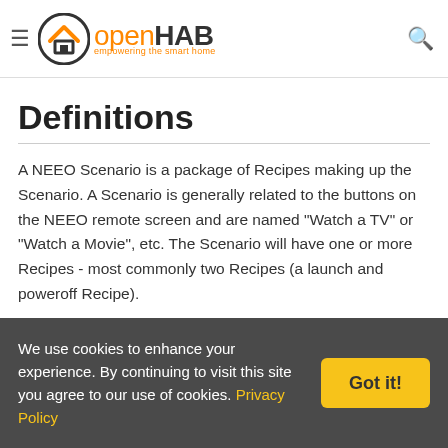openHAB — empowering the smart home (navigation bar with hamburger menu and search icon)
the binding. If you change the primary address ... register the old address and re-register the new address with the NEEO Brain.
Definitions
A NEEO Scenario is a package of Recipes making up the Scenario. A Scenario is generally related to the buttons on the NEEO remote screen and are named "Watch a TV" or "Watch a Movie", etc. The Scenario will have one or more Recipes - most commonly two Recipes (a launch and poweroff Recipe).
A NEEO Recipes is a sequence of steps that
We use cookies to enhance your experience. By continuing to visit this site you agree to our use of cookies. Privacy Policy  Got it!